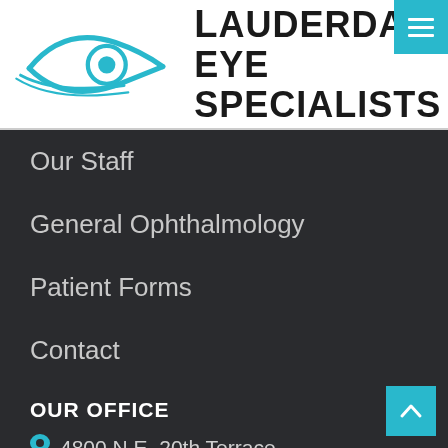[Figure (logo): Lauderdale Eye Specialists logo with a cyan eye illustration and the text LAUDERDALE EYE SPECIALISTS in bold black uppercase letters]
Our Staff
General Ophthalmology
Patient Forms
Contact
OUR OFFICE
4800 N.E. 20th Terrace, Suite 305, Ft. Lauderdale, FL 33308
954-491-1111
954-491-7017